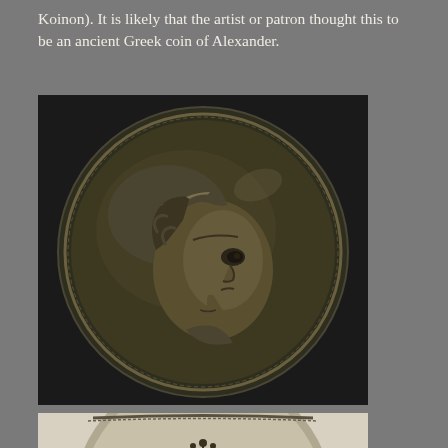Koinon). It is likely that the artist or patron thought this to be an ancient Greek coin of Alexander.
[Figure (photo): Close-up photograph of an ancient coin showing a profile portrait of a figure with curly hair and diadem, facing right. The coin is dark bronze/green patina with circular border.]
[Figure (photo): Partial view of another ancient coin showing decorative elements including what appears to be a palm or feather motif with dotted ornamental design, partially visible at bottom of page.]